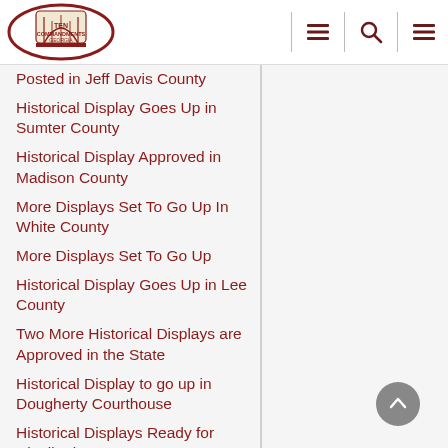Ten Commandments Georgia
Posted in Jeff Davis County
Historical Display Goes Up in Sumter County
Historical Display Approved in Madison County
More Displays Set To Go Up In White County
More Displays Set To Go Up
Historical Display Goes Up in Lee County
Two More Historical Displays are Approved in the State
Historical Display to go up in Dougherty Courthouse
Historical Displays Ready for Distribution